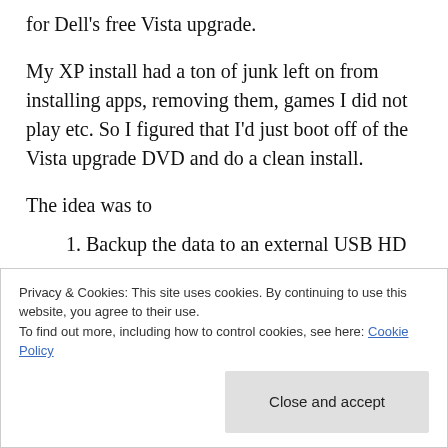for Dell's free Vista upgrade.
My XP install had a ton of junk left on from installing apps, removing them, games I did not play etc. So I figured that I'd just boot off of the Vista upgrade DVD and do a clean install.
The idea was to
1. Backup the data to an external USB HD
2. Wipe out the hardrive
Privacy & Cookies: This site uses cookies. By continuing to use this website, you agree to their use.
To find out more, including how to control cookies, see here: Cookie Policy